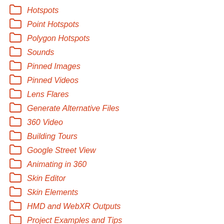Hotspots
Point Hotspots
Polygon Hotspots
Sounds
Pinned Images
Pinned Videos
Lens Flares
Generate Alternative Files
360 Video
Building Tours
Google Street View
Animating in 360
Skin Editor
Skin Elements
HMD and WebXR Outputs
Project Examples and Tips
Output Settings
HTML Templates
Garden Gnome Package